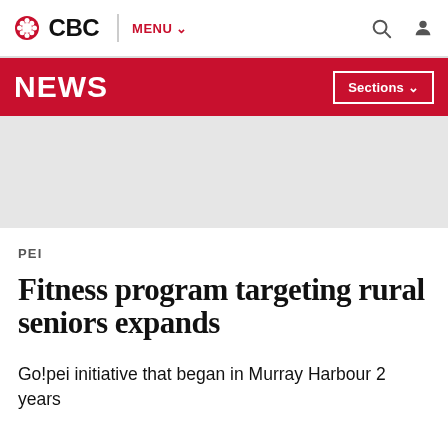CBC | MENU
NEWS | Sections
[Figure (other): Grey advertisement/banner placeholder area]
PEI
Fitness program targeting rural seniors expands
Go!pei initiative that began in Murray Harbour 2 years